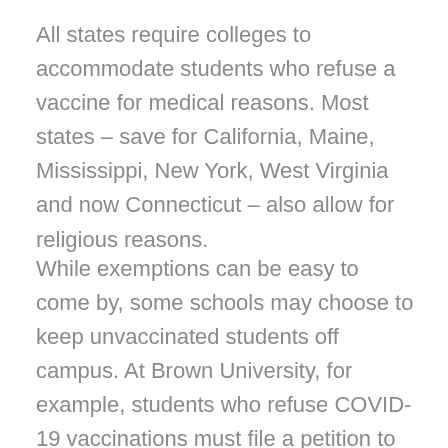All states require colleges to accommodate students who refuse a vaccine for medical reasons. Most states – save for California, Maine, Mississippi, New York, West Virginia and now Connecticut – also allow for religious reasons.
While exemptions can be easy to come by, some schools may choose to keep unvaccinated students off campus. At Brown University, for example, students who refuse COVID-19 vaccinations must file a petition to study remotely or take a leave of absence in